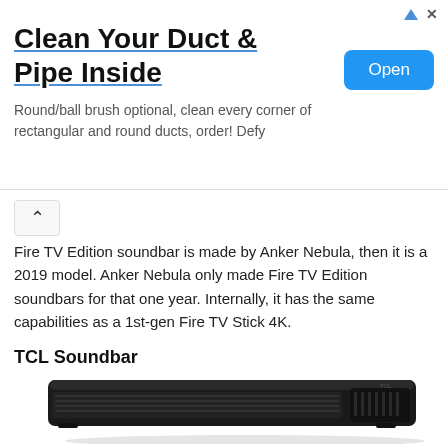[Figure (screenshot): Advertisement banner: 'Clean Your Duct & Pipe Inside' with Open button and small ad icons]
Fire TV Edition soundbar is made by Anker Nebula, then it is a 2019 model. Anker Nebula only made Fire TV Edition soundbars for that one year. Internally, it has the same capabilities as a 1st-gen Fire TV Stick 4K.
TCL Soundbar
[Figure (photo): Photo of a TCL soundbar, a long slim black rectangular speaker with grille vents on the front and right side, sitting on a white background.]